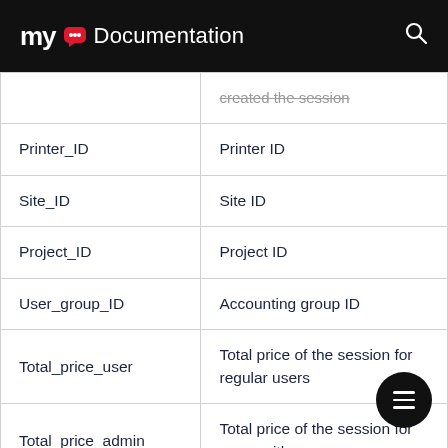myQ Documentation
|  | created the session |
| Printer_ID | Printer ID |
| Site_ID | Site ID |
| Project_ID | Project ID |
| User_group_ID | Accounting group ID |
| Total_price_user | Total price of the session for regular users |
| Total_price_admin | Total price of the session for users with |